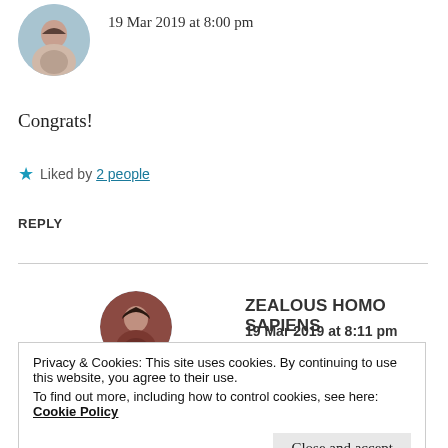[Figure (photo): Circular avatar photo of a person, light blue-grey outdoor background]
19 Mar 2019 at 8:00 pm
Congrats!
★ Liked by 2 people
REPLY
[Figure (photo): Circular avatar photo of a person with reddish-brown tones]
ZEALOUS HOMO SAPIENS
19 Mar 2019 at 8:11 pm
Privacy & Cookies: This site uses cookies. By continuing to use this website, you agree to their use.
To find out more, including how to control cookies, see here: Cookie Policy
Close and accept
REPLY